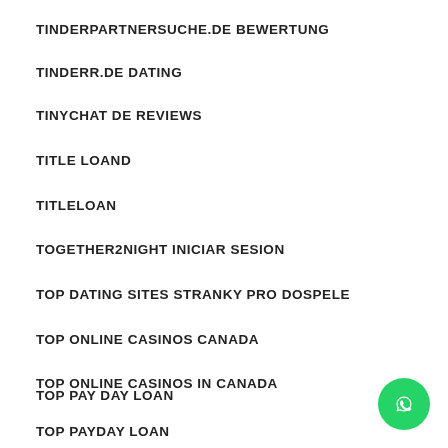TINDERPARTNERSUCHE.DE BEWERTUNG
TINDERR.DE DATING
TINYCHAT DE REVIEWS
TITLE LOAND
TITLELOAN
TOGETHER2NIGHT INICIAR SESION
TOP DATING SITES STRANKY PRO DOSPELE
TOP ONLINE CASINOS CANADA
TOP ONLINE CASINOS IN CANADA
TOP PAY DAY LOAN
TOP PAYDAY LOAN
[Figure (illustration): WhatsApp contact button (green circle with phone handset icon)]